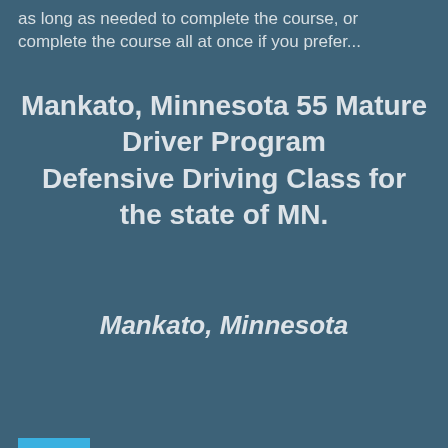as long as needed to complete the course, or complete the course all at once if you prefer...
Mankato, Minnesota 55 Mature Driver Program Defensive Driving Class for the state of MN.
Mankato, Minnesota